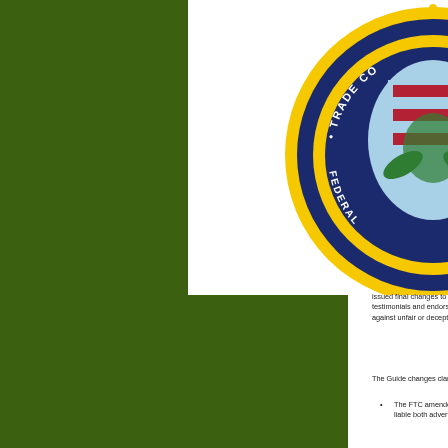[Figure (logo): Federal Trade Commission (FTC) official seal, partially visible in the top-right corner. The seal features the FTC emblem with blue, gold/yellow, green colors, with 'FEDERAL TRADE COMMISSION' text around the border.]
issued final changes to the Guides Concerning the Use of Endorsements and Testimonials in Advertising. While these Guides address testimonials and endorsements in advertising, public relations, marketing and word of mouth advertising are also subject to federal laws against unfair or deceptive acts or practices.
The Guide changes clarify existing policy and include new examples and additional guidance that could affect social media marketing, including:
The FTC amended its position making clear that it will now hold endorsers liable for unsubstantiated claims as well as holding liable both advertisers and endorsing parties.